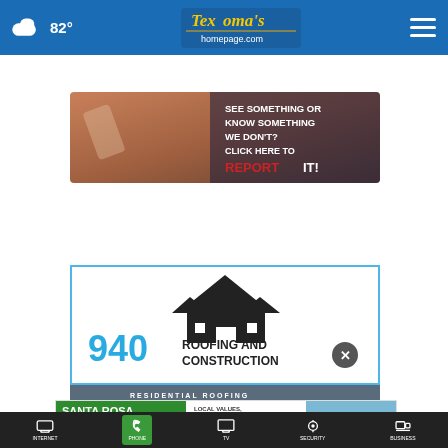82° Texoma's homepage.com [navigation menu]
[Figure (screenshot): Report It ad banner: hand holding smartphone with text 'SEE SOMETHING OR KNOW SOMETHING WE DON'T? CLICK HERE TO REPORT IT!']
[Figure (logo): 940 Roofing and Construction logo with house silhouette icon]
[Figure (screenshot): Partial text: RESIDENTIAL ROOFING]
[Figure (screenshot): Santa Rosa Communications ad: LOCAL VALUES, LOCAL PEOPLE & LOCAL SUPPORT with service icons for Internet, Phone, TV, Security, Business]
INTERNET | PHONE | TV | SECURITY | BUSINESS (bottom navigation icons)